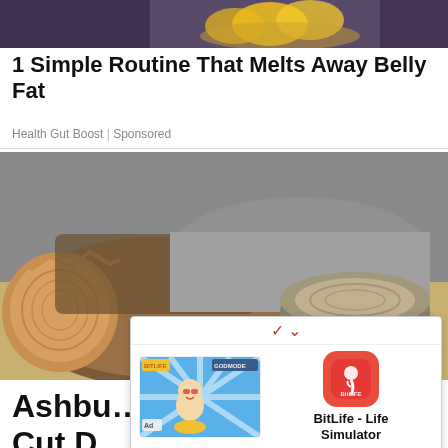[Figure (photo): Cropped top portion of a photo showing a person holding a bowl of lemons/citrus slices]
1 Simple Routine That Melts Away Belly Fat
Health Gut Boost | Sponsored
[Figure (photo): Photo of a cut tree trunk and tree stump on sandy ground with bark and wood detail visible]
Ashbu... ice to Cut D...
[Figure (screenshot): Ad popup showing BitLife - Life Simulator app advertisement with install button]